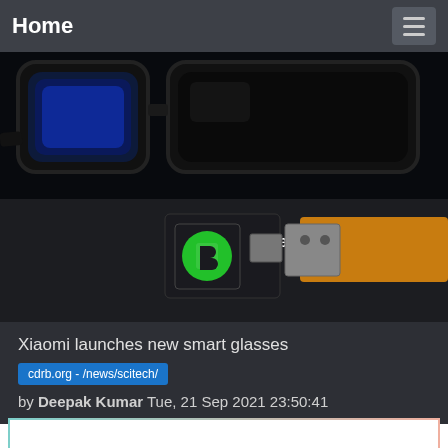Home
[Figure (photo): Close-up of smart glasses with blue display lens on black background, and below it a macro shot of a microchip/MicroLED display component with a green circuit board logo and 'To Panel' label on orange flex cable]
Xiaomi launches new smart glasses
cdrb.org - /news/scitech/
by Deepak Kumar Tue, 21 Sep 2021 23:50:41